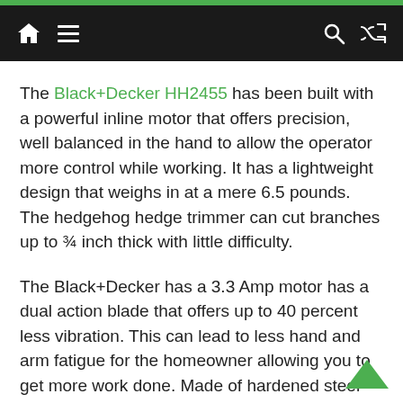Navigation bar with home icon, menu icon, search icon, shuffle icon
The Black+Decker HH2455 has been built with a powerful inline motor that offers precision, well balanced in the hand to allow the operator more control while working. It has a lightweight design that weighs in at a mere 6.5 pounds. The hedgehog hedge trimmer can cut branches up to ¾ inch thick with little difficulty.
The Black+Decker has a 3.3 Amp motor has a dual action blade that offers up to 40 percent less vibration. This can lead to less hand and arm fatigue for the homeowner allowing you to get more work done. Made of hardened steel the